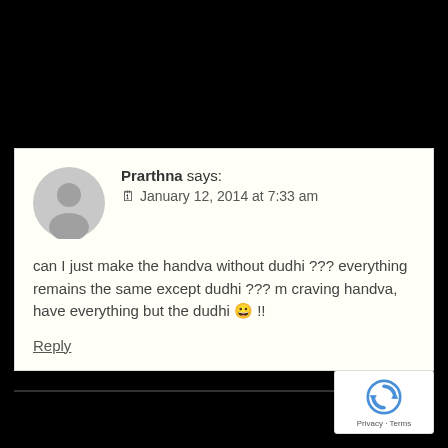Prarthna says: January 12, 2014 at 7:33 am
can I just make the handva without dudhi ??? everything remains the same except dudhi ??? m craving handva, have everything but the dudhi 😀 !!
Reply
[Figure (logo): reCAPTCHA logo with Privacy and Terms text]